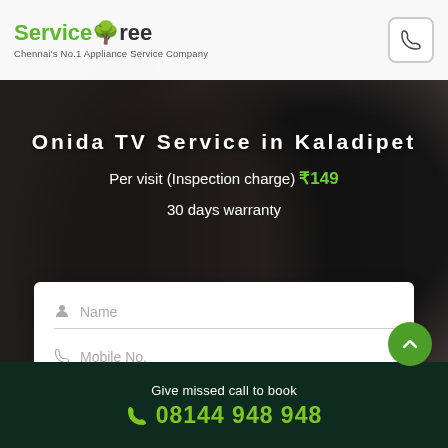ServiceTree — Chennai's No.1 Appliance Service Company
Onida TV Service in Kaladipet
Per visit (Inspection charge) ₹149
30 days warranty
Name
Mobile No.
Book Now
By clicking Book Now, you agree to our terms
Give missed call to book 08144 948 948